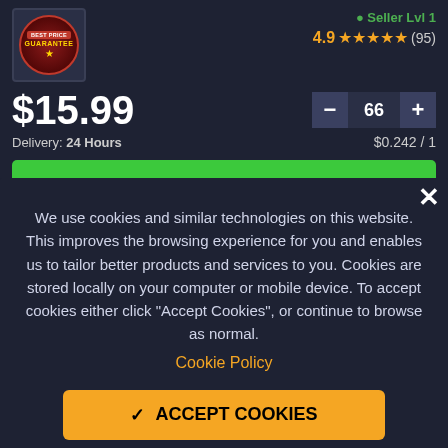[Figure (logo): Best Price Guarantee badge with red circular seal and gold star]
Seller Lvl 1
4.9 ★★★★★ (95)
$15.99
Delivery: 24 Hours
$0.242 / 1
BUY NOW
We use cookies and similar technologies on this website. This improves the browsing experience for you and enables us to tailor better products and services to you. Cookies are stored locally on your computer or mobile device. To accept cookies either click "Accept Cookies", or continue to browse as normal.
Cookie Policy
ACCEPT COOKIES
Cookie Settings and Details